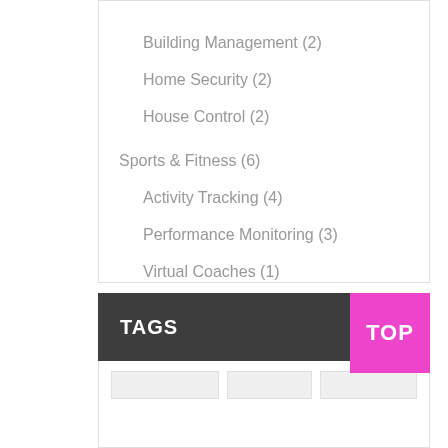Building Management (2)
Home Security (2)
House Control (2)
Sports & Fitness (6)
Activity Tracking (4)
Performance Monitoring (3)
Virtual Coaches (1)
Wearable Products (3)
TAGS